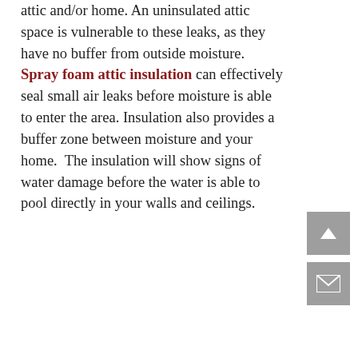attic and/or home. An uninsulated attic space is vulnerable to these leaks, as they have no buffer from outside moisture. Spray foam attic insulation can effectively seal small air leaks before moisture is able to enter the area. Insulation also provides a buffer zone between moisture and your home.  The insulation will show signs of water damage before the water is able to pool directly in your walls and ceilings.